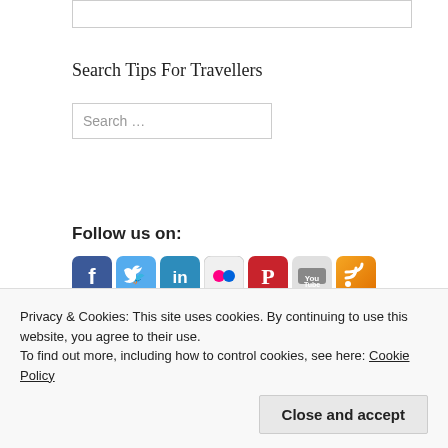[Figure (other): White rectangle box at top of page, partial image placeholder with border]
Search Tips For Travellers
[Figure (other): Search input box with placeholder text 'Search ...']
Follow us on:
[Figure (other): Row of social media icons: Facebook (blue), Twitter (light blue), LinkedIn (teal), Flickr (grey/pink), Pinterest (red), YouTube (grey), RSS (orange), and two partial icons below]
Privacy & Cookies: This site uses cookies. By continuing to use this website, you agree to their use.
To find out more, including how to control cookies, see here: Cookie Policy
Close and accept